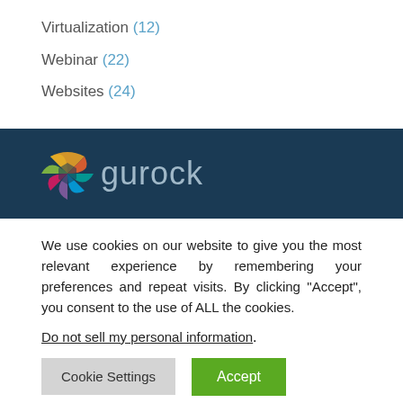Virtualization (12)
Webinar (22)
Websites (24)
[Figure (logo): Gurock logo with colorful geometric icon and gray 'gurock' text on dark navy background]
We use cookies on our website to give you the most relevant experience by remembering your preferences and repeat visits. By clicking “Accept”, you consent to the use of ALL the cookies.
Do not sell my personal information.